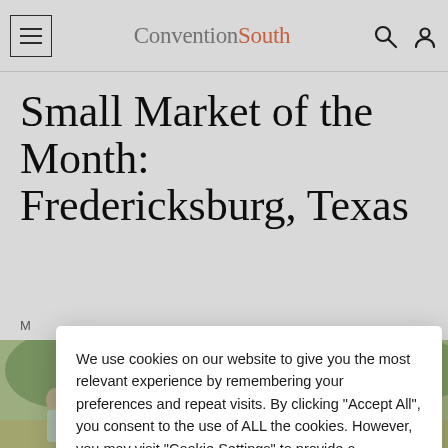ConventionSouth
Small Market of the Month: Fredericksburg, Texas
M...
[Figure (photo): People gathered outdoors, bottom strip photo]
We use cookies on our website to give you the most relevant experience by remembering your preferences and repeat visits. By clicking "Accept All", you consent to the use of ALL the cookies. However, you may visit "Cookie Settings" to provide a controlled consent.